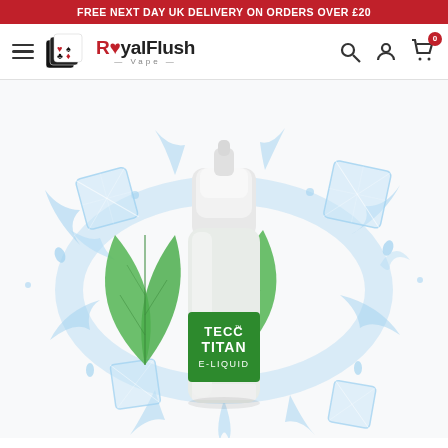FREE NEXT DAY UK DELIVERY ON ORDERS OVER £20
[Figure (logo): Royal Flush Vape logo with playing cards icon, red and black text]
[Figure (photo): TECC Titan E-Liquid bottle with mint leaves and ice cubes water splash background]